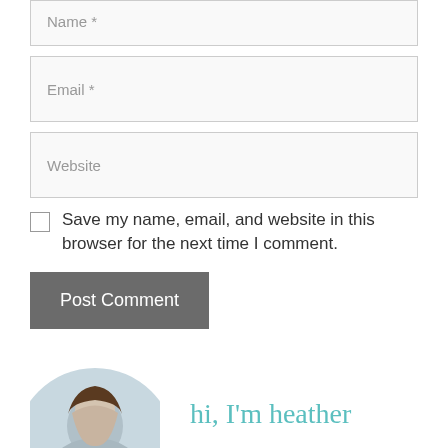Name *
Email *
Website
Save my name, email, and website in this browser for the next time I comment.
Post Comment
This site uses Akismet to reduce spam. Learn how your comment data is processed.
[Figure (photo): Circular photo of a person (Heather) with a handwritten-style text 'hi, I'm heather' in teal color beside it]